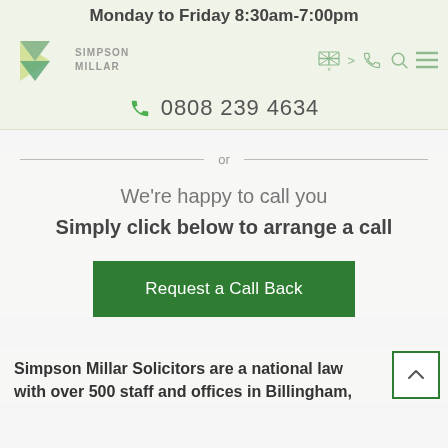Monday to Friday 8:30am-7:00pm
[Figure (logo): Simpson Millar logo with green triangle shapes and text]
0808 239 4634
or
We're happy to call you
Simply click below to arrange a call
Request a Call Back
Simpson Millar Solicitors are a national law firm with over 500 staff and offices in Billingham.